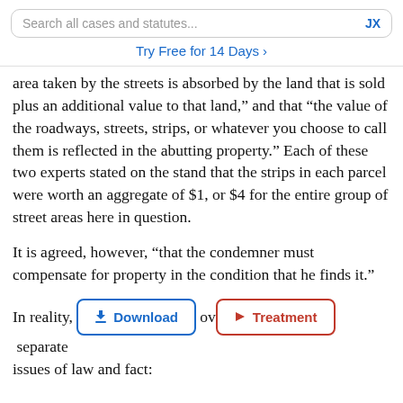Search all cases and statutes...  JX
Try Free for 14 Days ›
area taken by the streets is absorbed by the land that is sold plus an additional value to that land,” and that “the value of the roadways, streets, strips, or whatever you choose to call them is reflected in the abutting property.” Each of these two experts stated on the stand that the strips in each parcel were worth an aggregate of $1, or $4 for the entire group of street areas here in question.
It is agreed, however, “that the condemner must compensate for property in the condition that he finds it.”
In reality, [Download] [Treatment] separate issues of law and fact: